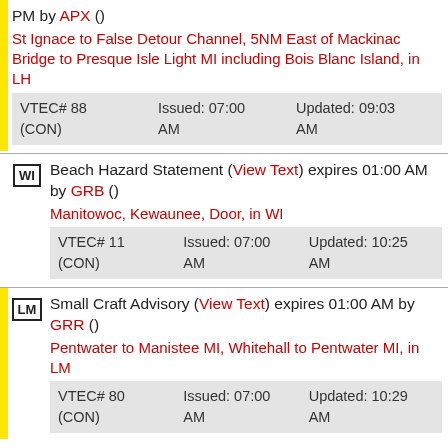PM by APX () St Ignace to False Detour Channel, 5NM East of Mackinac Bridge to Presque Isle Light MI including Bois Blanc Island, in LH VTEC# 88 (CON) Issued: 07:00 AM Updated: 09:03 AM
WI Beach Hazard Statement (View Text) expires 01:00 AM by GRB () Manitowoc, Kewaunee, Door, in WI VTEC# 11 (CON) Issued: 07:00 AM Updated: 10:25 AM
LM Small Craft Advisory (View Text) expires 01:00 AM by GRR () Pentwater to Manistee MI, Whitehall to Pentwater MI, in LM VTEC# 80 (CON) Issued: 07:00 AM Updated: 10:29 AM